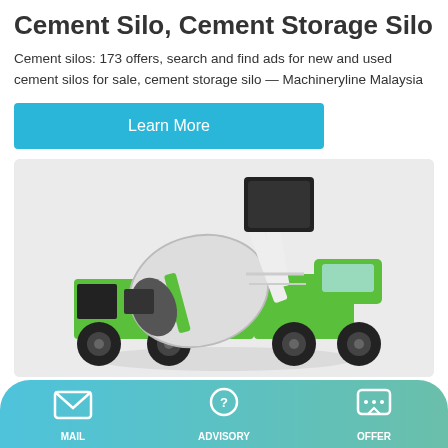Cement Silo, Cement Storage Silo
Cement silos: 173 offers, search and find ads for new and used cement silos for sale, cement storage silo — Machineryline Malaysia
Learn More
[Figure (photo): Green self-loading concrete mixer truck with a rotating drum, viewed from the side, on a light grey background.]
MAIL | ADVISORY | OFFER